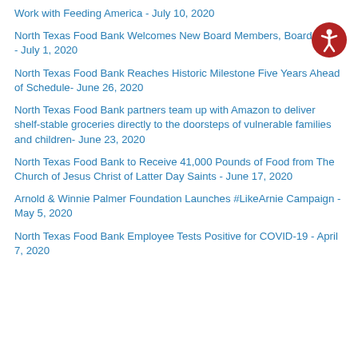Work with Feeding America - July 10, 2020
North Texas Food Bank Welcomes New Board Members, Board Chair - July 1, 2020
North Texas Food Bank Reaches Historic Milestone Five Years Ahead of Schedule- June 26, 2020
North Texas Food Bank partners team up with Amazon to deliver shelf-stable groceries directly to the doorsteps of vulnerable families and children- June 23, 2020
North Texas Food Bank to Receive 41,000 Pounds of Food from The Church of Jesus Christ of Latter Day Saints - June 17, 2020
Arnold & Winnie Palmer Foundation Launches #LikeArnie Campaign - May 5, 2020
North Texas Food Bank Employee Tests Positive for COVID-19 - April 7, 2020